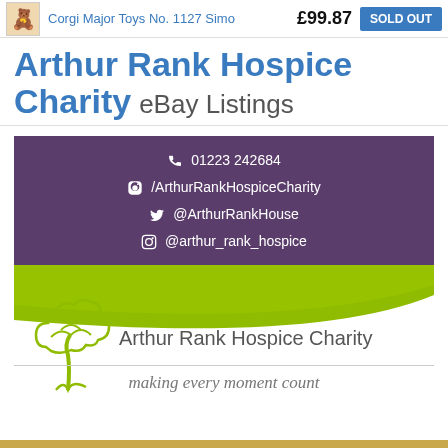Corgi Major Toys No. 1127 Simo  £99.87  SOLD OUT
Arthur Rank Hospice Charity eBay Listings
[Figure (infographic): Purple contact banner with phone 01223 242684, Facebook /ArthurRankHospiceCharity, Twitter @ArthurRankHouse, Instagram @arthur_rank_hospice]
[Figure (logo): Arthur Rank Hospice Charity logo with tree graphic and tagline 'making every moment count']